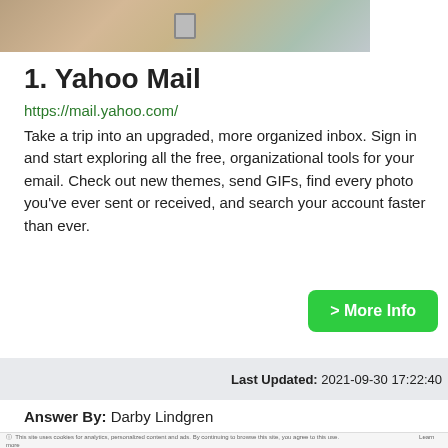[Figure (photo): Top portion of a photo showing a wooden desk scene with neutral/outdoor background]
1. Yahoo Mail
https://mail.yahoo.com/
Take a trip into an upgraded, more organized inbox. Sign in and start exploring all the free, organizational tools for your email. Check out new themes, send GIFs, find every photo you’ve ever sent or received, and search your account faster than ever.
> More Info
Last Updated: 2021-09-30 17:22:40
Answer By: Darby Lindgren
[Figure (screenshot): Bottom strip showing Microsoft Community webpage with cookie notice and navigation bar]